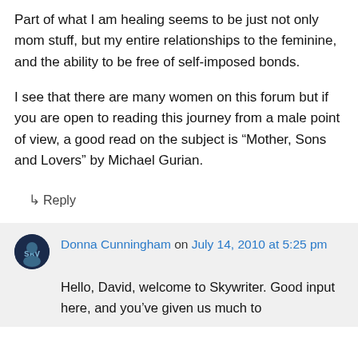Part of what I am healing seems to be just not only mom stuff, but my entire relationships to the feminine, and the ability to be free of self-imposed bonds.
I see that there are many women on this forum but if you are open to reading this journey from a male point of view, a good read on the subject is “Mother, Sons and Lovers” by Michael Gurian.
↳ Reply
Donna Cunningham on July 14, 2010 at 5:25 pm
Hello, David, welcome to Skywriter. Good input here, and you’ve given us much to